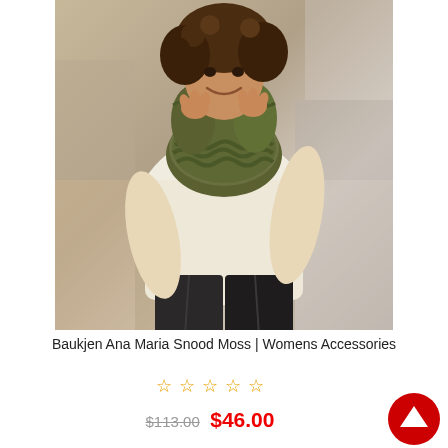[Figure (photo): A woman wearing a cream knit sweater and dark leather-look trousers, with an olive/moss green chunky knit snood scarf around her neck, smiling against a textured concrete wall background.]
Baukjen Ana Maria Snood Moss | Womens Accessories
☆ ☆ ☆ ☆ ☆
$113.00  $46.00